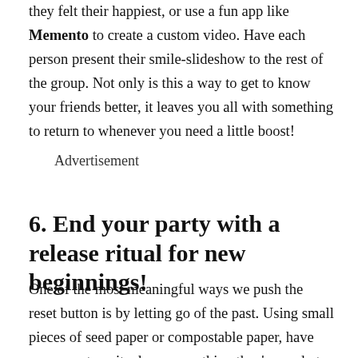they felt their happiest, or use a fun app like Memento to create a custom video. Have each person present their smile-slideshow to the rest of the group. Not only is this a way to get to know your friends better, it leaves you all with something to return to whenever you need a little boost!
Advertisement
6. End your party with a release ritual for new beginnings!
One of the most meaningful ways we push the reset button is by letting go of the past. Using small pieces of seed paper or compostable paper, have your guests write down something they're ready to release. Then, together, bury the papers in your garden, yard, or even a large potted plant to